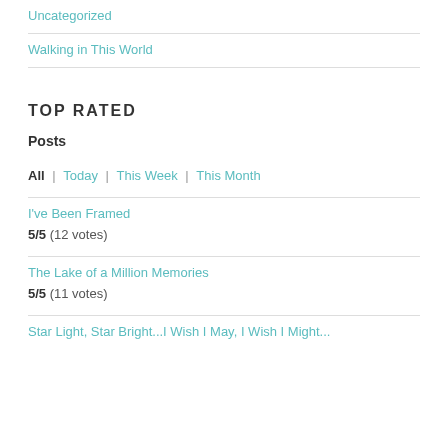Uncategorized
Walking in This World
TOP RATED
Posts
All | Today | This Week | This Month
I've Been Framed
5/5 (12 votes)
The Lake of a Million Memories
5/5 (11 votes)
Star Light, Star Bright...I Wish I May, I Wish I Might...